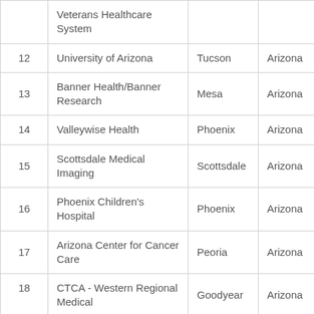| # | Organization | City | State |
| --- | --- | --- | --- |
|  | Veterans Healthcare System |  |  |
| 12 | University of Arizona | Tucson | Arizona |
| 13 | Banner Health/Banner Research | Mesa | Arizona |
| 14 | Valleywise Health | Phoenix | Arizona |
| 15 | Scottsdale Medical Imaging | Scottsdale | Arizona |
| 16 | Phoenix Children's Hospital | Phoenix | Arizona |
| 17 | Arizona Center for Cancer Care | Peoria | Arizona |
| 18 | CTCA - Western Regional Medical | Goodyear | Arizona |